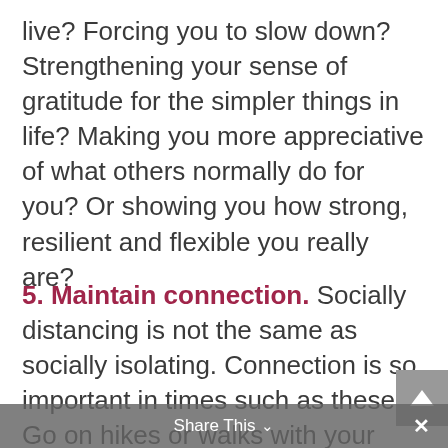live? Forcing you to slow down? Strengthening your sense of gratitude for the simpler things in life? Making you more appreciative of what others normally do for you? Or showing you how strong, resilient and flexible you really are?
5. Maintain connection. Socially distancing is not the same as socially isolating. Connection is so important in times such as these. Go on hikes or walks with your children, pick up the phone and call your best friend, chat over Facetime with extended family, enjoy long snuggles with your animals, or take a virtual, interactive group yoga class
Share This